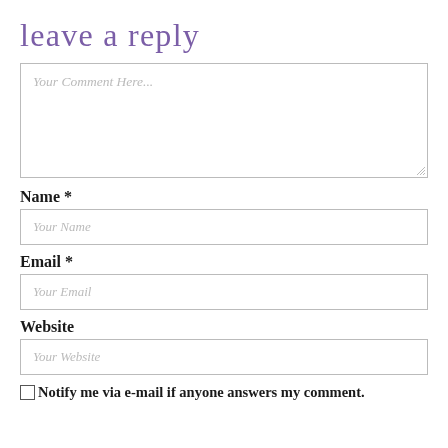leave a reply
Your Comment Here...
Name *
Your Name
Email *
Your Email
Website
Your Website
Notify me via e-mail if anyone answers my comment.